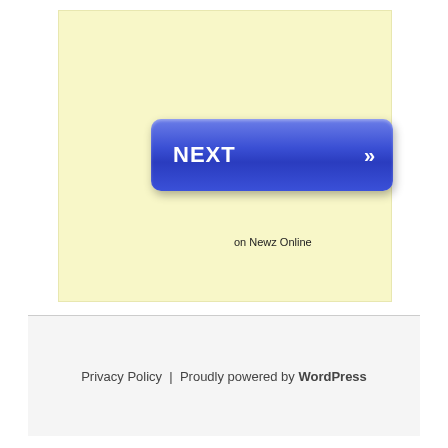[Figure (other): Yellow background box containing a blue NEXT button with double chevron arrows, and text 'on Newz Online' in the lower right area]
Privacy Policy  |  Proudly powered by WordPress